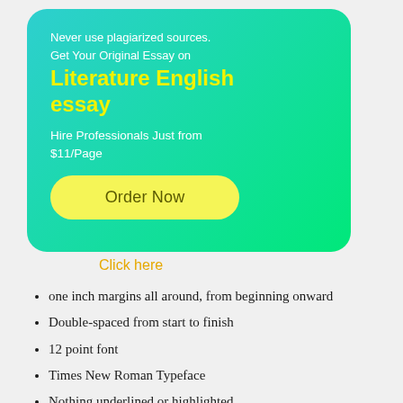[Figure (infographic): Promotional card with gradient teal-to-green background containing text about essay writing service and Order Now button]
Click here
one inch margins all around, from beginning onward
Double-spaced from start to finish
12 point font
Times New Roman Typeface
Nothing underlined or highlighted